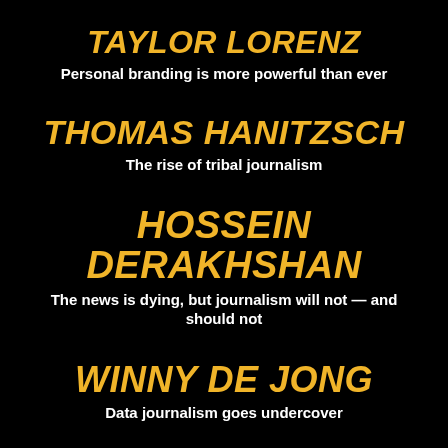TAYLOR LORENZ
Personal branding is more powerful than ever
THOMAS HANITZSCH
The rise of tribal journalism
HOSSEIN DERAKHSHAN
The news is dying, but journalism will not — and should not
WINNY DE JONG
Data journalism goes undercover